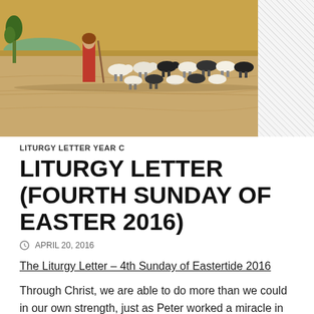[Figure (illustration): Painting of a shepherd in red robes leading a flock of sheep across a desert landscape, with a hatched/gray area to the right]
LITURGY LETTER YEAR C
LITURGY LETTER (FOURTH SUNDAY OF EASTER 2016)
APRIL 20, 2016
The Liturgy Letter – 4th Sunday of Eastertide 2016
Through Christ, we are able to do more than we could in our own strength, just as Peter worked a miracle in Joppa (Acts 9:36-43). The Lord is our shepherd (Revelation 7:9-